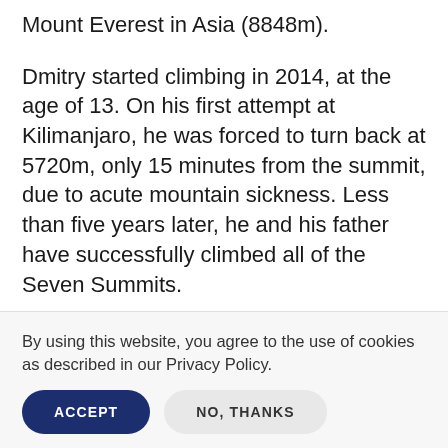Mount Everest in Asia (8848m).
Dmitry started climbing in 2014, at the age of 13. On his first attempt at Kilimanjaro, he was forced to turn back at 5720m, only 15 minutes from the summit, due to acute mountain sickness. Less than five years later, he and his father have successfully climbed all of the Seven Summits.
As if the extraordinary physical and mental
By using this website, you agree to the use of cookies as described in our Privacy Policy.
ACCEPT
NO, THANKS
Charterhouse pupils and staff. In 2016,